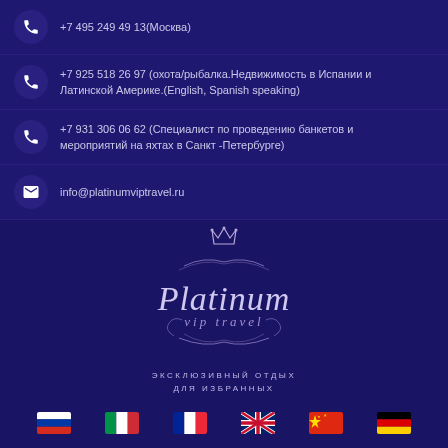+7 495 249 49 13(Москва)
+7 925 518 26 97 (охота/рыбалка.Недвижимость в Испании и Латинской Америке.(English, Spanish speaking)
+7 931 306 06 62 (Специалист по проведению банкетов и мероприятий на яхтах в Санкт -Петербурге)
info@platinumviptravel.ru
[Figure (logo): Platinum VIP Travel logo with crown, decorative script lettering and tagline ЭКСКЛЮЗИВНЫЙ ОТДЫХ ДЛЯ ИЗБРАННЫХ]
[Figure (infographic): Row of six country flags: Russia, Italy, France, UK, China, Germany]